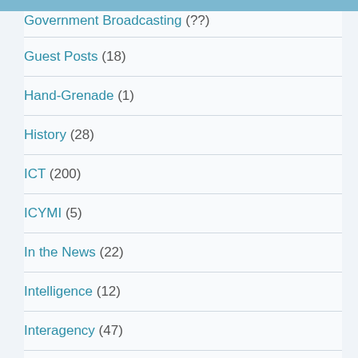Government Broadcasting (truncated)
Guest Posts (18)
Hand-Grenade (1)
History (28)
ICT (200)
ICYMI (5)
In the News (22)
Intelligence (12)
Interagency (47)
Marketplace for Loyalty (2)
Media (117)